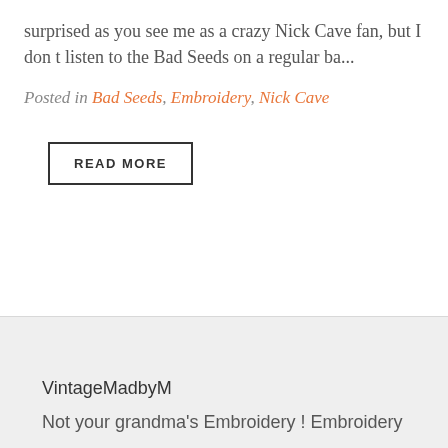surprised as you see me as a crazy Nick Cave fan, but I don t listen to the Bad Seeds on a regular ba...
Posted in Bad Seeds, Embroidery, Nick Cave
READ MORE
VintageMadbyM
Not your grandma's Embroidery ! Embroidery